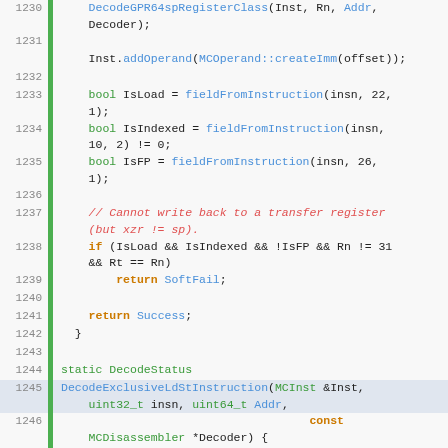[Figure (screenshot): Source code listing lines 1230-1250 showing C++ disassembler code with syntax highlighting. Line numbers in grey on left, green gutter bar, code in monospace font with orange keywords, blue function names, green type names.]